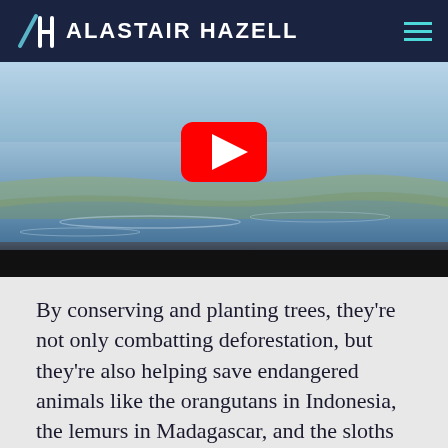ALASTAIR HAZELL
[Figure (screenshot): Video thumbnail showing a water/river scene with reflections and a YouTube play button overlay, with a dark bar at the bottom]
By conserving and planting trees, they're not only combatting deforestation, but they're also helping save endangered animals like the orangutans in Indonesia, the lemurs in Madagascar, and the sloths in Brazil.
With our monthly support, they will be planting an extra 500 trees a month, and conserving many